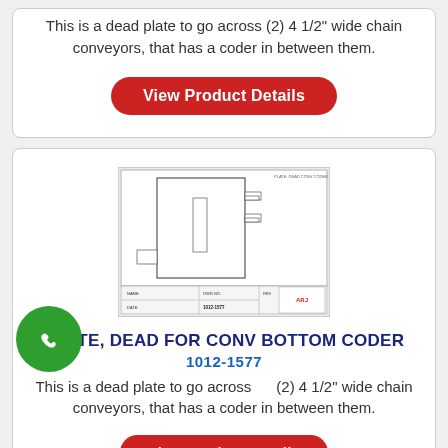This is a dead plate to go across (2) 4 1/2" wide chain conveyors, that has a coder in between them.
View Product Details
[Figure (engineering-diagram): Technical schematic drawing of a dead plate for conveyor bottom coder, showing top and side views with dimension annotations and title block.]
PLATE, DEAD FOR CONV BOTTOM CODER
1012-1577
This is a dead plate to go across (2) 4 1/2" wide chain conveyors, that has a coder in between them.
View Product Details